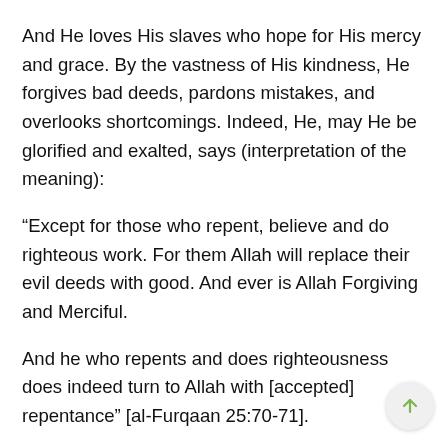And He loves His slaves who hope for His mercy and grace. By the vastness of His kindness, He forgives bad deeds, pardons mistakes, and overlooks shortcomings. Indeed, He, may He be glorified and exalted, says (interpretation of the meaning):
“Except for those who repent, believe and do righteous work. For them Allah will replace their evil deeds with good. And ever is Allah Forgiving and Merciful.
And he who repents and does righteousness does indeed turn to Allah with [accepted] repentance” [al-Furqaan 25:70-71].